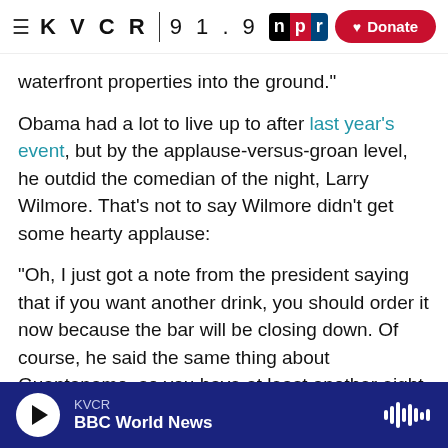KVCR 91.9 NPR | Donate
waterfront properties into the ground."
Obama had a lot to live up to after last year's event, but by the applause-versus-groan level, he outdid the comedian of the night, Larry Wilmore. That's not to say Wilmore didn't get some hearty applause:
"Oh, I just got a note from the president saying that if you want another drink, you should order it now because the bar will be closing down. Of course, he said the same thing about Guantanamo, so you have at least another eight years."
KVCR | BBC World News